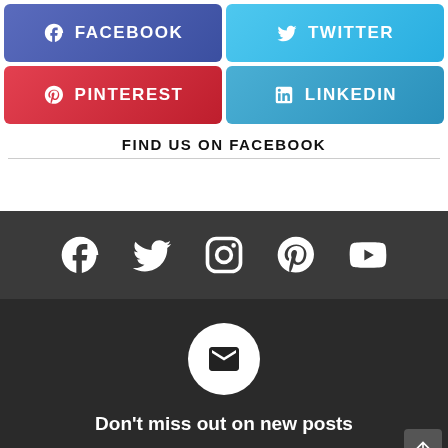[Figure (infographic): Social share buttons: Facebook (blue-purple), Twitter (cyan), Pinterest (red), LinkedIn (blue)]
FIND US ON FACEBOOK
[Figure (infographic): Social media icons row on dark background: Facebook, Twitter, Instagram, Pinterest, YouTube]
[Figure (infographic): Email subscribe section on dark background with envelope icon and 'Don't miss out on new posts' text]